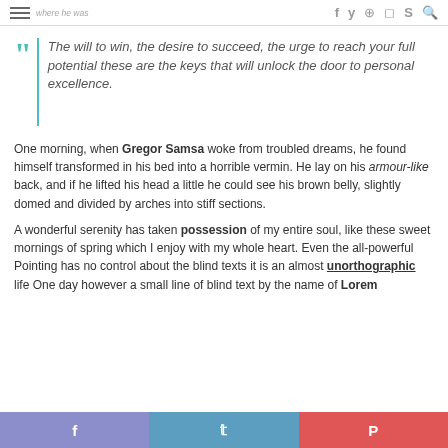Navigation bar with hamburger menu, site title fragment, and social icons (f, y, pinterest, instagram, skype, search)
The will to win, the desire to succeed, the urge to reach your full potential these are the keys that will unlock the door to personal excellence.
One morning, when Gregor Samsa woke from troubled dreams, he found himself transformed in his bed into a horrible vermin. He lay on his armour-like back, and if he lifted his head a little he could see his brown belly, slightly domed and divided by arches into stiff sections.
A wonderful serenity has taken possession of my entire soul, like these sweet mornings of spring which I enjoy with my whole heart. Even the all-powerful Pointing has no control about the blind texts it is an almost unorthographic life One day however a small line of blind text by the name of Lorem
Social share bar: Facebook, Twitter, Pinterest